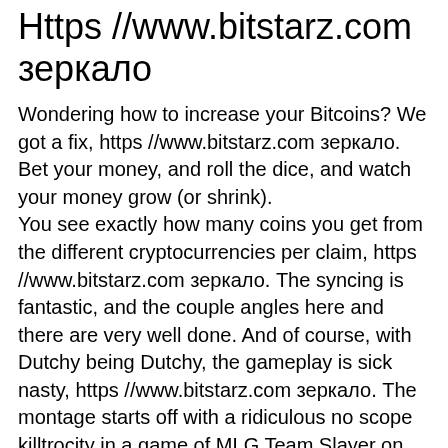Https //www.bitstarz.com зеркало
Wondering how to increase your Bitcoins? We got a fix, https //www.bitstarz.com зеркало. Bet your money, and roll the dice, and watch your money grow (or shrink). You see exactly how many coins you get from the different cryptocurrencies per claim, https //www.bitstarz.com зеркало. The syncing is fantastic, and the couple angles here and there are very well done. And of course, with Dutchy being Dutchy, the gameplay is sick nasty, https //www.bitstarz.com зеркало. The montage starts off with a ridiculous no scope killtrocity in a game of MLG Team Slayer on Narrows and goes on to showcase several more incredible clips